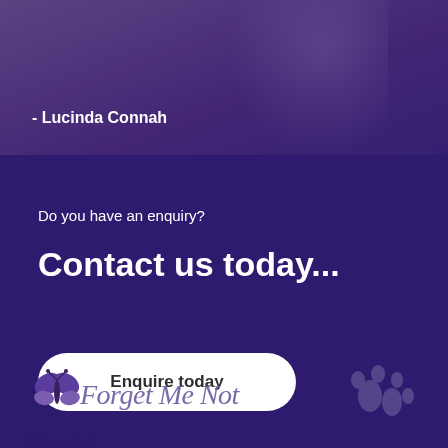[Figure (photo): Dark purple-toned photo section showing a silhouetted figure with a dog, partially visible at top. Contains quote attribution.]
- Lucinda Connah
Do you have an enquiry?
Contact us today...
Enquire today
[Figure (logo): Forget Me Not logo with butterfly icon and cursive script text reading 'Forget Me Not']
Useful